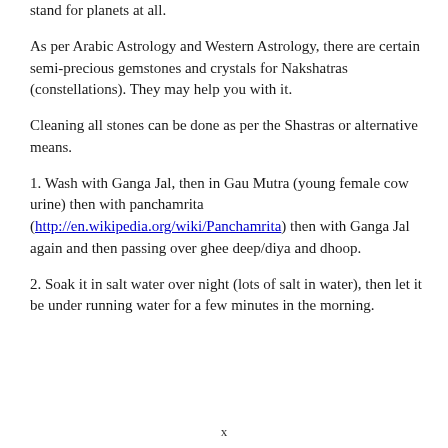stand for planets at all.
As per Arabic Astrology and Western Astrology, there are certain semi-precious gemstones and crystals for Nakshatras (constellations). They may help you with it.
Cleaning all stones can be done as per the Shastras or alternative means.
1. Wash with Ganga Jal, then in Gau Mutra (young female cow urine) then with panchamrita (http://en.wikipedia.org/wiki/Panchamrita) then with Ganga Jal again and then passing over ghee deep/diya and dhoop.
2. Soak it in salt water over night (lots of salt in water), then let it be under running water for a few minutes in the morning.
x